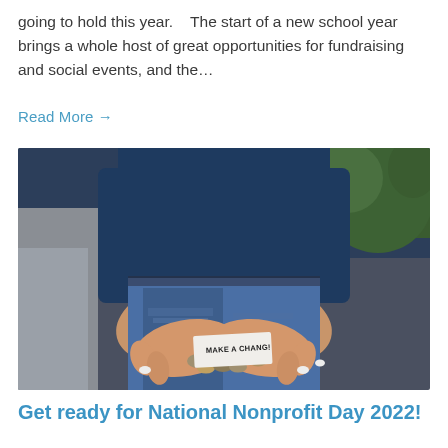going to hold this year.    The start of a new school year brings a whole host of great opportunities for fundraising and social events, and the…
Read More →
[Figure (photo): Person holding coins and a small paper note reading 'MAKE A CHANGE' in their cupped hands, wearing blue jeans and a dark blue top.]
Get ready for National Nonprofit Day 2022!
Have you done your for national nonprofits day? Whe the…